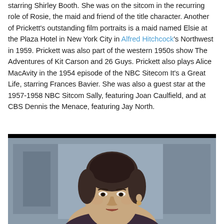starring Shirley Booth. She was on the sitcom in the recurring role of Rosie, the maid and friend of the title character. Another of Prickett's outstanding film portraits is a maid named Elsie at the Plaza Hotel in New York City in Alfred Hitchcock's Northwest in 1959. Prickett was also part of the western 1950s show The Adventures of Kit Carson and 26 Guys. Prickett also plays Alice MacAvity in the 1954 episode of the NBC Sitecom It's a Great Life, starring Frances Bavier. She was also a guest star at the 1957-1958 NBC Sitcom Sally, featuring Joan Caulfield, and at CBS Dennis the Menace, featuring Jay North.
[Figure (photo): Black and white or low-color photograph of a woman with dark hair pulled back, wearing what appears to be a dark top with a gold earring visible, photographed from slightly below, looking slightly to the side.]